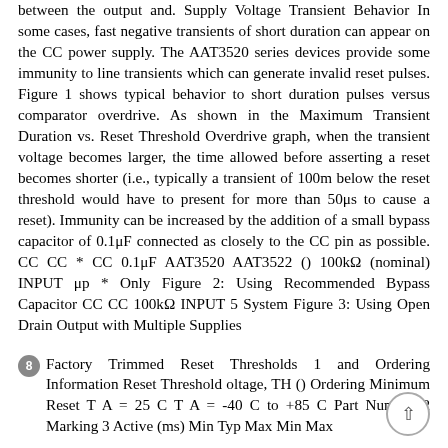between the output and. Supply Voltage Transient Behavior In some cases, fast negative transients of short duration can appear on the CC power supply. The AAT3520 series devices provide some immunity to line transients which can generate invalid reset pulses. Figure 1 shows typical behavior to short duration pulses versus comparator overdrive. As shown in the Maximum Transient Duration vs. Reset Threshold Overdrive graph, when the transient voltage becomes larger, the time allowed before asserting a reset becomes shorter (i.e., typically a transient of 100m below the reset threshold would have to present for more than 50μs to cause a reset). Immunity can be increased by the addition of a small bypass capacitor of 0.1μF connected as closely to the CC pin as possible. CC CC * CC 0.1μF AAT3520 AAT3522 () 100kΩ (nominal) INPUT μp * Only Figure 2: Using Recommended Bypass Capacitor CC CC 100kΩ INPUT 5 System Figure 3: Using Open Drain Output with Multiple Supplies
8 Factory Trimmed Reset Thresholds 1 and Ordering Information Reset Threshold oltage, TH () Ordering Minimum Reset T A = 25 C T A = -40 C to +85 C Part Number 2 Marking 3 Active (ms) Min Typ Max Min Max